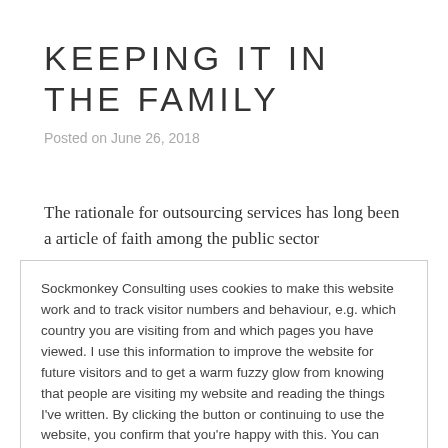KEEPING IT IN THE FAMILY
Posted on June 26, 2018
The rationale for outsourcing services has long been a article of faith among the public sector...
Sockmonkey Consulting uses cookies to make this website work and to track visitor numbers and behaviour, e.g. which country you are visiting from and which pages you have viewed. I use this information to improve the website for future visitors and to get a warm fuzzy glow from knowing that people are visiting my website and reading the things I've written. By clicking the button or continuing to use the website, you confirm that you're happy with this. You can read more about how Wordpress, which hosts this site, uses cookies here: Cookie Policy
I'm fine with this